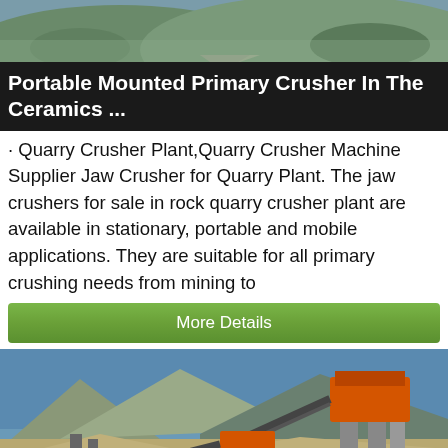[Figure (photo): Aerial/landscape photo showing a road or construction site with greenery and pavement visible from above]
Portable Mounted Primary Crusher In The Ceramics ...
· Quarry Crusher Plant,Quarry Crusher Machine Supplier Jaw Crusher for Quarry Plant. The jaw crushers for sale in rock quarry crusher plant are available in stationary, portable and mobile applications. They are suitable for all primary crushing needs from mining to
More Details
[Figure (photo): Photo of a large portable jaw crusher plant setup at a quarry site in a rocky mountainous area. Orange and grey machinery with conveyor belts, concrete pillars, and a red car visible in the foreground. Blue sky with mountains in background.]